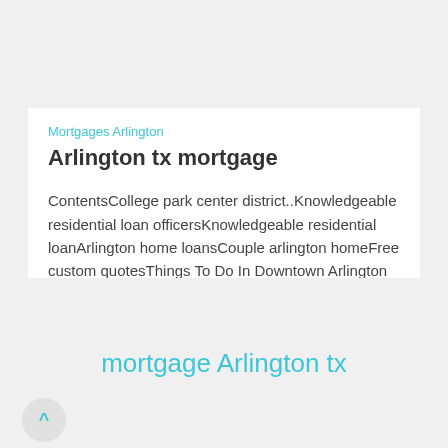Mortgages Arlington
Arlington tx mortgage
ContentsCollege park center district..Knowledgeable residential loan officersKnowledgeable residential loanArlington home loansCouple arlington homeFree custom quotesThings To Do In Downtown Arlington Things...
mortgage Arlington tx